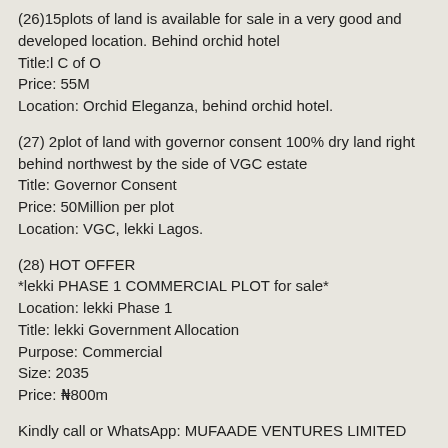(26)15plots of land is available for sale in a very good and developed location. Behind orchid hotel
Title:l C of O
Price: 55M
Location: Orchid Eleganza, behind orchid hotel.
(27) 2plot of land with governor consent 100% dry land right behind northwest by the side of VGC estate
Title: Governor Consent
Price: 50Million per plot
Location: VGC, lekki Lagos.
(28) HOT OFFER
*lekki PHASE 1 COMMERCIAL PLOT for sale*
Location: lekki Phase 1
Title: lekki Government Allocation
Purpose: Commercial
Size: 2035
Price: ₦800m
Kindly call or WhatsApp: MUFAADE VENTURES LIMITED